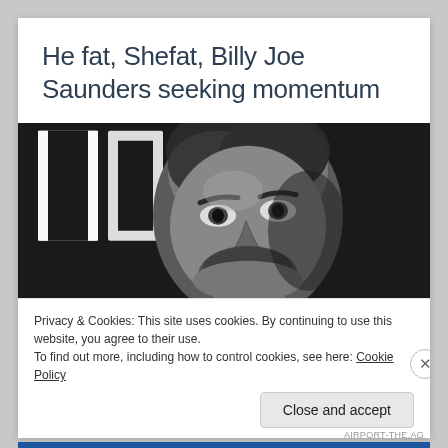He fat, Shefat, Billy Joe Saunders seeking momentum
[Figure (photo): Black and white close-up portrait photograph of a man (Billy Joe Saunders) with short dark hair, stubble beard, and a tattoo on his neck, looking slightly upward. Dark background with partial white text visible.]
Privacy & Cookies: This site uses cookies. By continuing to use this website, you agree to their use.
To find out more, including how to control cookies, see here: Cookie Policy
Close and accept